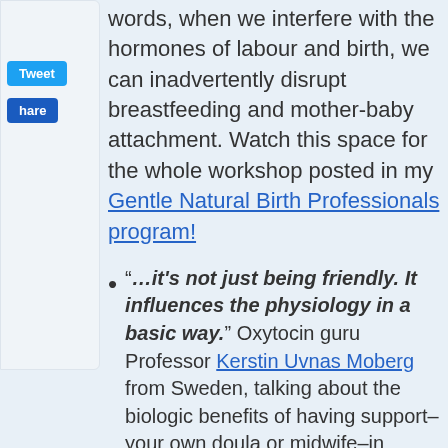[Figure (screenshot): Social media share sidebar with Tweet and Share buttons]
words, when we interfere with the hormones of labour and birth, we can inadvertently disrupt breastfeeding and mother-baby attachment. Watch this space for the whole workshop posted in my Gentle Natural Birth Professionals program!
“…it’s not just being friendly. It influences the physiology in a basic way.” Oxytocin guru Professor Kerstin Uvnas Moberg from Sweden, talking about the biologic benefits of having support–your own doula or midwife–in labour.